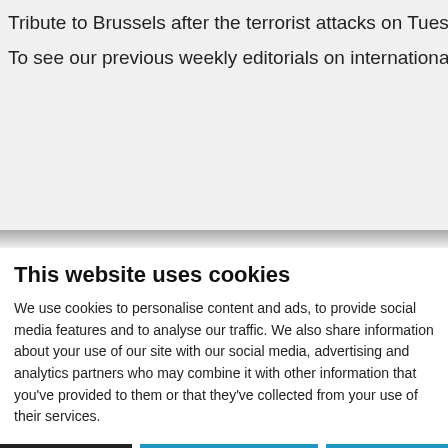Tribute to Brussels after the terrorist attacks on Tuesday March 22nd
To see our previous weekly editorials on international news, have a l…
This website uses cookies
We use cookies to personalise content and ads, to provide social media features and to analyse our traffic. We also share information about your use of our site with our social media, advertising and analytics partners who may combine it with other information that you've provided to them or that they've collected from your use of their services.
Deny all | Allow selection | Allow all
Necessary | Preferences | Statistics | Marketing | Show details